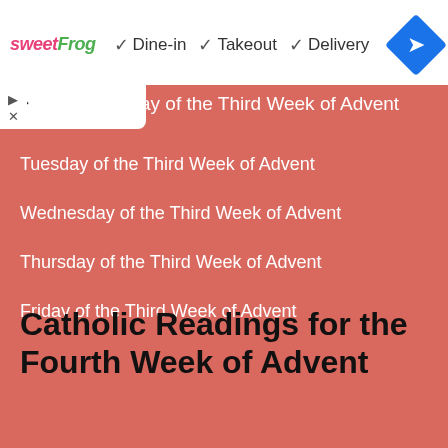[Figure (infographic): sweetFrog ad banner with Dine-in, Takeout, Delivery checkmarks and a blue navigation arrow icon]
ay of the Third Week of Advent
Tuesday of the Third Week of Advent
Wednesday of the Third Week of Advent
Thursday of the Third Week of Advent
Friday of the Third Week of Advent
Catholic Readings for the Fourth Week of Advent
Fourth Sunday of Advent, Year A